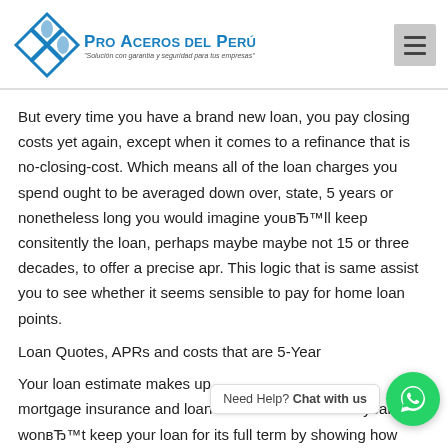[Figure (logo): Pro Aceros del Perú logo with diamond/rhombus icon shapes in teal/blue and company name text]
But every time you have a brand new loan, you pay closing costs yet again, except when it comes to a refinance that is no-closing-cost. Which means all of the loan charges you spend ought to be averaged down over, state, 5 years or nonetheless long you would imagine youвЂ™ll keep consitently the loan, perhaps maybe maybe not 15 or three decades, to offer a precise apr. This logic that is same assist you to see whether it seems sensible to pay for home loan points.
Loan Quotes, APRs and costs that are 5-Year
Your loan estimate makes up al mortgage insurance and loan fees over the first five years. u wonвЂ™t keep your loan for its full term by showing how much